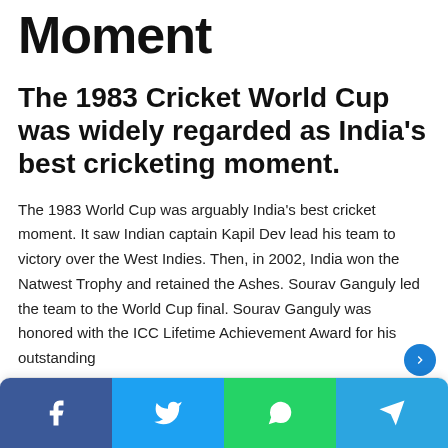Moment
The 1983 Cricket World Cup was widely regarded as India's best cricketing moment.
The 1983 World Cup was arguably India's best cricket moment. It saw Indian captain Kapil Dev lead his team to victory over the West Indies. Then, in 2002, India won the Natwest Trophy and retained the Ashes. Sourav Ganguly led the team to the World Cup final. Sourav Ganguly was honored with the ICC Lifetime Achievement Award for his outstanding
Social share bar: Facebook, Twitter, WhatsApp, Telegram